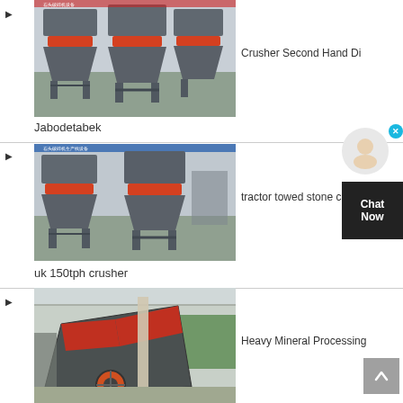[Figure (photo): Industrial cone crusher machines in a factory setting, multiple units shown]
Crusher Second Hand Di
Jabodetabek
[Figure (photo): Industrial cone crusher machines in a factory setting, similar to above]
tractor towed stone crusher
uk 150tph crusher
[Figure (photo): Large industrial impact crusher machine in a factory setting]
Heavy Mineral Processing